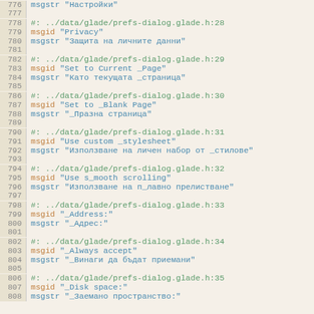776 msgstr "Настройки"
777
778 #: ../data/glade/prefs-dialog.glade.h:28
779 msgid "Privacy"
780 msgstr "Защита на личните данни"
781
782 #: ../data/glade/prefs-dialog.glade.h:29
783 msgid "Set to Current _Page"
784 msgstr "Като текущата _страница"
785
786 #: ../data/glade/prefs-dialog.glade.h:30
787 msgid "Set to _Blank Page"
788 msgstr "_Празна страница"
789
790 #: ../data/glade/prefs-dialog.glade.h:31
791 msgid "Use custom _stylesheet"
792 msgstr "Използване на личен набор от _стилове"
793
794 #: ../data/glade/prefs-dialog.glade.h:32
795 msgid "Use s_mooth scrolling"
796 msgstr "Използване на п_лавно прелистване"
797
798 #: ../data/glade/prefs-dialog.glade.h:33
799 msgid "_Address:"
800 msgstr "_Адрес:"
801
802 #: ../data/glade/prefs-dialog.glade.h:34
803 msgid "_Always accept"
804 msgstr "_Винаги да бъдат приемани"
805
806 #: ../data/glade/prefs-dialog.glade.h:35
807 msgid "_Disk space:"
808 msgstr "_Заемано пространство:"